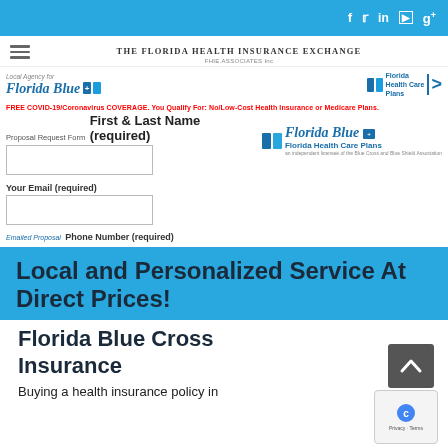Social media icons: f, Twitter, in, YouTube, g+
The Florida Health Insurance Exchange
[Figure (logo): Hamburger menu icon with three horizontal bars]
[Figure (logo): Florida Blue logo with shield icon and text 'Local Agency for Florida Blue']
[Figure (logo): Florida Health Care Plans logo on right side]
FREE COVID-19/Coronavirus COVERAGE. You Qualify For: No/Low-Cost Health Insurance or Medicare Plans.
Proposal Request Form
First & Last Name (required)
[Figure (logo): Florida Blue Florida Health Care Plans logo on right side of form]
Your Email (required)
Emailed Proposal
Phone Number (required)
Local and Personalized Service At Direct Prices!
Florida Blue Cross Insurance
Buying a health insurance policy in